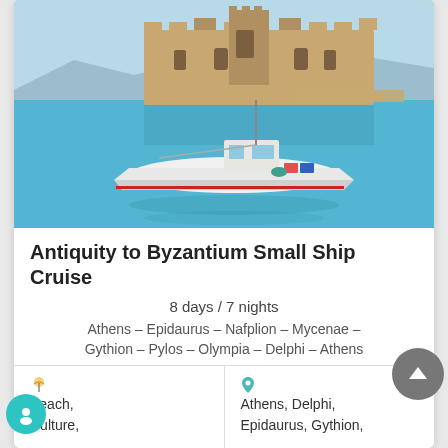[Figure (photo): Greek fishing boat on blue water with a castle/fortress in the background, reflected in the calm sea. Scenic Greek coastal scenery.]
Antiquity to Byzantium Small Ship Cruise
8 days / 7 nights
Athens – Epidaurus – Nafplion – Mycenae – Gythion – Pylos – Olympia – Delphi – Athens
|  |  |
| --- | --- |
| Beach, Culture, | Athens, Delphi, Epidaurus, Gythion, |